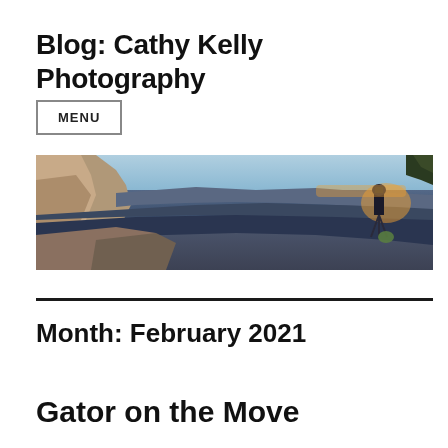Blog: Cathy Kelly Photography
MENU
[Figure (photo): Panoramic photo of a person with a camera on a tripod standing on the rim of the Grand Canyon at sunset, with orange and blue sky in the background and rocky canyon walls visible.]
Month: February 2021
Gator on the Move